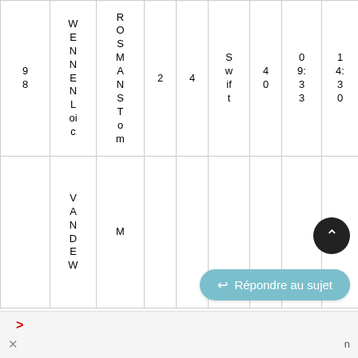| 98 | WENNENLoic | ROSMANSTom | 2 | 4 | Swift | 40 | 09:33 | 14:30 |
|  | VANDEW | M |  |  |  |  |  |  |